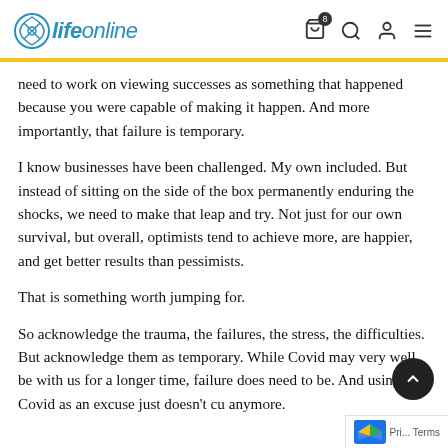life online
need to work on viewing successes as something that happened because you were capable of making it happen. And more importantly, that failure is temporary.
I know businesses have been challenged. My own included. But instead of sitting on the side of the box permanently enduring the shocks, we need to make that leap and try. Not just for our own survival, but overall, optimists tend to achieve more, are happier, and get better results than pessimists.
That is something worth jumping for.
So acknowledge the trauma, the failures, the stress, the difficulties. But acknowledge them as temporary. While Covid may very well be with us for a longer time, failure does need to be. And using Covid as an excuse just doesn't cu anymore.